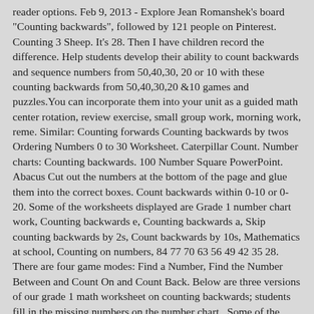reader options. Feb 9, 2013 - Explore Jean Romanshek's board "Counting backwards", followed by 121 people on Pinterest. Counting 3 Sheep. It's 28. Then I have children record the difference. Help students develop their ability to count backwards and sequence numbers from 50,40,30, 20 or 10 with these counting backwards from 50,40,30,20 &10 games and puzzles.You can incorporate them into your unit as a guided math center rotation, review exercise, small group work, morning work, reme. Similar: Counting forwards Counting backwards by twos Ordering Numbers 0 to 30 Worksheet. Caterpillar Count. Number charts: Counting backwards. 100 Number Square PowerPoint. Abacus Cut out the numbers at the bottom of the page and glue them into the correct boxes. Count backwards within 0-10 or 0-20. Some of the worksheets displayed are Grade 1 number chart work, Counting backwards e, Counting backwards a, Skip counting backwards by 2s, Count backwards by 10s, Mathematics at school, Counting on numbers, 84 77 70 63 56 49 42 35 28. There are four game modes: Find a Number, Find the Number Between and Count On and Count Back. Below are three versions of our grade 1 math worksheet on counting backwards; students fill in the missing numbers on the number chart.. Some of the worksheets for this concept are Grade 1 number chart work, Elementary math work, Name date counting forward and backward, Woek5heet 90d5, Skip